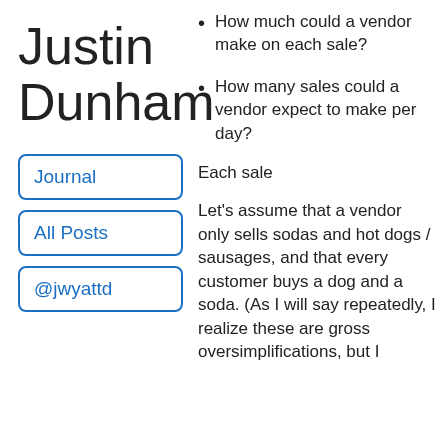Justin Dunham
Journal
All Posts
@jwyattd
How much could a vendor make on each sale?
How many sales could a vendor expect to make per day?
Each sale
Let’s assume that a vendor only sells sodas and hot dogs / sausages, and that every customer buys a dog and a soda. (As I will say repeatedly, I realize these are gross oversimplifications, but I